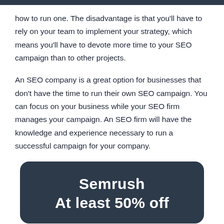how to run one. The disadvantage is that you'll have to rely on your team to implement your strategy, which means you'll have to devote more time to your SEO campaign than to other projects.
An SEO company is a great option for businesses that don't have the time to run their own SEO campaign. You can focus on your business while your SEO firm manages your campaign. An SEO firm will have the knowledge and experience necessary to run a successful campaign for your company.
[Figure (infographic): Dark navy rounded box promotional banner for Semrush showing 'Semrush' and 'At least 50% off' in bold white text]